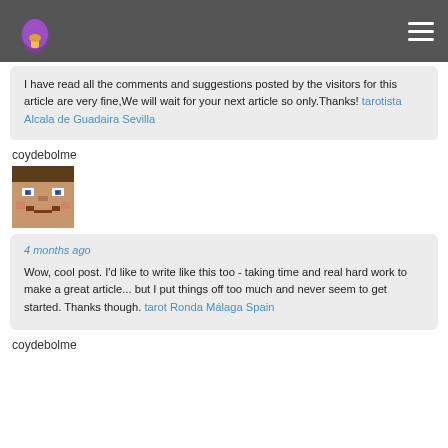I have read all the comments and suggestions posted by the visitors for this article are very fine,We will wait for your next article so only.Thanks! tarotista Alcala de Guadaira Sevilla
coydebolme
[Figure (photo): Minecraft Steve avatar - pixelated face]
4 months ago
Wow, cool post. I'd like to write like this too - taking time and real hard work to make a great article... but I put things off too much and never seem to get started. Thanks though. tarot Ronda Málaga Spain
coydebolme